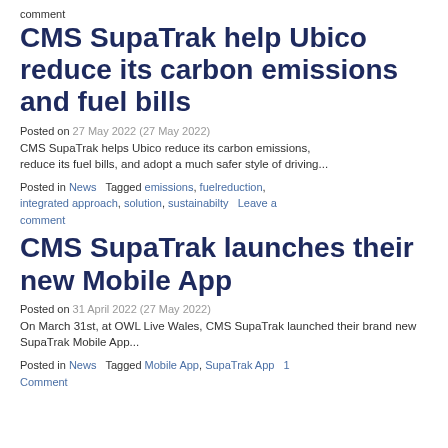comment
CMS SupaTrak help Ubico reduce its carbon emissions and fuel bills
Posted on 27 May 2022 (27 May 2022)
CMS SupaTrak helps Ubico reduce its carbon emissions, reduce its fuel bills, and adopt a much safer style of driving...
Posted in News   Tagged emissions, fuelreduction, integrated approach, solution, sustainabilty   Leave a comment
CMS SupaTrak launches their new Mobile App
Posted on 31 April 2022 (27 May 2022)
On March 31st, at OWL Live Wales, CMS SupaTrak launched their brand new SupaTrak Mobile App...
Posted in News   Tagged Mobile App, SupaTrak App   1 Comment